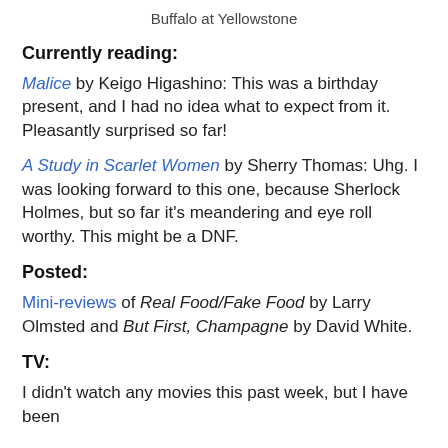Buffalo at Yellowstone
Currently reading:
Malice by Keigo Higashino: This was a birthday present, and I had no idea what to expect from it. Pleasantly surprised so far!
A Study in Scarlet Women by Sherry Thomas: Uhg. I was looking forward to this one, because Sherlock Holmes, but so far it's meandering and eye roll worthy. This might be a DNF.
Posted:
Mini-reviews of Real Food/Fake Food by Larry Olmsted and But First, Champagne by David White.
TV:
I didn't watch any movies this past week, but I have been